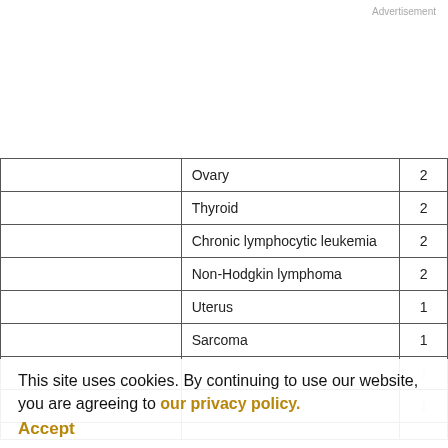Advertisement
|  | Cancer type | Count |
| --- | --- | --- |
|  | Ovary | 2 |
|  | Thyroid | 2 |
|  | Chronic lymphocytic leukemia | 2 |
|  | Non-Hodgkin lymphoma | 2 |
|  | Uterus | 1 |
|  | Sarcoma | 1 |
|  |  | 1 |
|  | Stomach | 1 |
|  |  |  |
This site uses cookies. By continuing to use our website, you are agreeing to our privacy policy. Accept